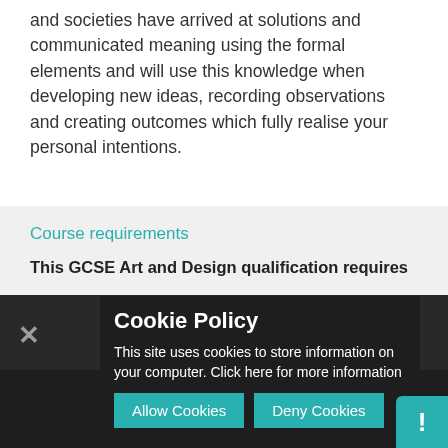and societies have arrived at solutions and communicated meaning using the formal elements and will use this knowledge when developing new ideas, recording observations and creating outcomes which fully realise your personal intentions.
Course requirements
This GCSE Art and Design qualification requires
tudents to:
reative process of art, craft and design in order to develop as... and as... emulating... d incudes... experience, initiative, exploring and making?
Cookie Policy
This site uses cookies to store information on your computer. Click here for more information
Allow Cookies   Deny Cookies